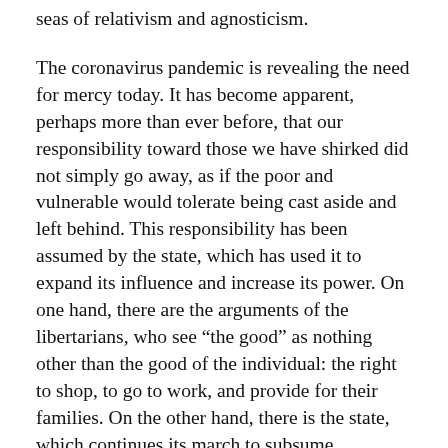seas of relativism and agnosticism.
The coronavirus pandemic is revealing the need for mercy today. It has become apparent, perhaps more than ever before, that our responsibility toward those we have shirked did not simply go away, as if the poor and vulnerable would tolerate being cast aside and left behind. This responsibility has been assumed by the state, which has used it to expand its influence and increase its power. On one hand, there are the arguments of the libertarians, who see “the good” as nothing other than the good of the individual: the right to shop, to go to work, and provide for their families. On the other hand, there is the state, which continues its march to subsume increasingly more of our lives into its system of control, in the name of collective happiness and human flourishing.
In contrast, the Church’s message of mercy teaches that